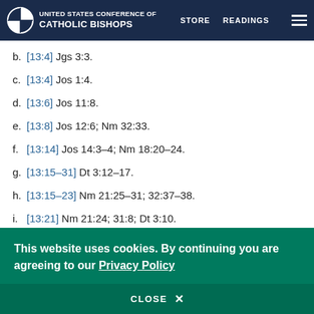United States Conference of Catholic Bishops — STORE  READINGS
b. [13:4] Jgs 3:3.
c. [13:4] Jos 1:4.
d. [13:6] Jos 11:8.
e. [13:8] Jos 12:6; Nm 32:33.
f. [13:14] Jos 14:3–4; Nm 18:20–24.
g. [13:15–31] Dt 3:12–17.
h. [13:15–23] Nm 21:25–31; 32:37–38.
i. [13:21] Nm 21:24; 31:8; Dt 3:10.
j. [13:22] Nm 31:8.
This website uses cookies. By continuing you are agreeing to our Privacy Policy
CLOSE  X